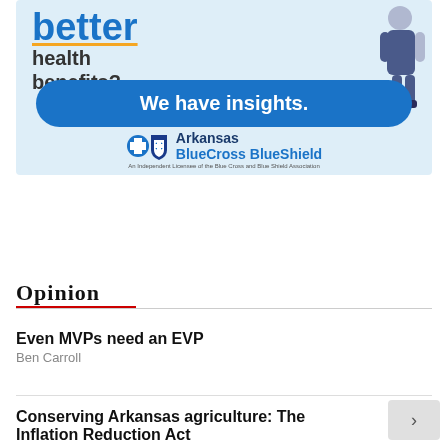[Figure (illustration): Arkansas BlueCross BlueShield advertisement banner with 'better health benefits?' text, 'We have insights.' button, and BCBS logo with illustrated figure]
Opinion
Even MVPs need an EVP
Ben Carroll
Conserving Arkansas agriculture: The Inflation Reduction Act